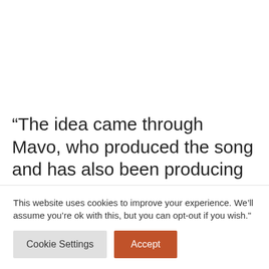“The idea came through Mavo, who produced the song and has also been producing my songs. There was a vibe, we had a discussion for few minutes and things started rolling.”
This website uses cookies to improve your experience. We’ll assume you’re ok with this, but you can opt-out if you wish."